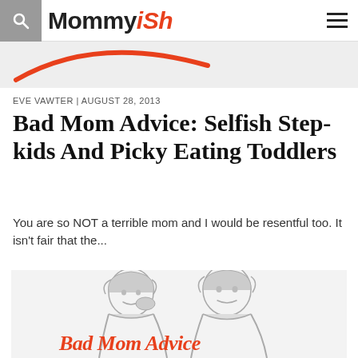Mommyish
[Figure (illustration): Partial cropped article header image showing a red curved line on a light grey background]
EVE VAWTER | August 28, 2013
Bad Mom Advice: Selfish Step-kids And Picky Eating Toddlers
You are so NOT a terrible mom and I would be resentful too. It isn't fair that the...
[Figure (illustration): Retro illustration of two women in 1950s style, one whispering to the other, with red text 'Bad Mom Advice' at the bottom]